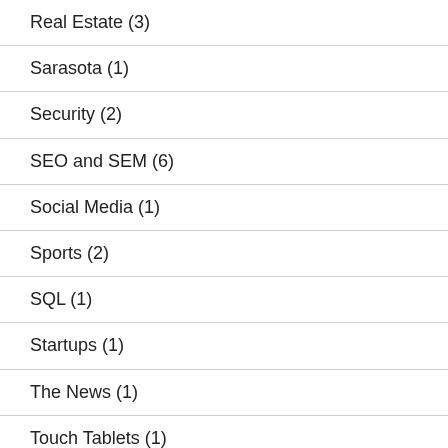Real Estate (3)
Sarasota (1)
Security (2)
SEO and SEM (6)
Social Media (1)
Sports (2)
SQL (1)
Startups (1)
The News (1)
Touch Tablets (1)
Tweets (83)